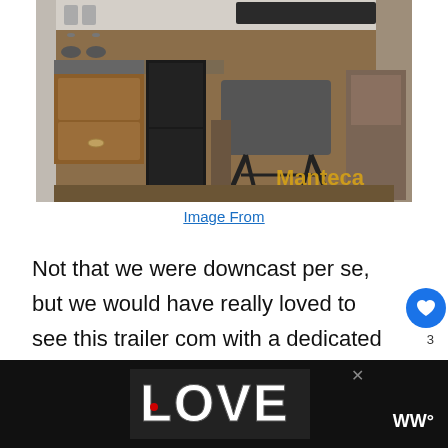[Figure (photo): Interior of an RV trailer showing a kitchen area with wooden cabinets, gas stove, refrigerator, a dinette table with metal legs, and a bed/couch area. Yellow text 'Manteca' visible in lower right of photo.]
Image From
Not that we were downcast per se, but we would have really loved to see this trailer come with a dedicated master bedroom. Sadly, it is unavailable in this model. A DVD Player was m...